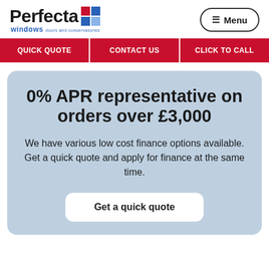[Figure (logo): Perfecta Windows logo with blue and red squares graphic and tagline]
≡ Menu
QUICK QUOTE
CONTACT US
CLICK TO CALL
0% APR representative on orders over £3,000
We have various low cost finance options available. Get a quick quote and apply for finance at the same time.
Get a quick quote